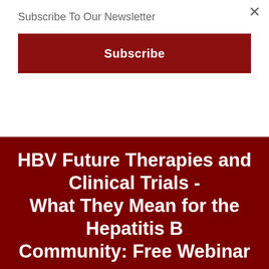×
Subscribe To Our Newsletter
Subscribe
HBV Future Therapies and Clinical Trials - What They Mean for the Hepatitis B Community: Free Webinar
Telemedicine Consult - Dr. Gish
[Figure (other): Green Telemed2U button with monitor icon]
[Figure (other): Blue Folsom Gastromed button with monitor icon]
[Figure (other): Green scroll-to-top circle button with up arrow]